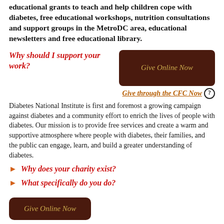educational grants to teach and help children cope with diabetes, free educational workshops, nutrition consultations and support groups in the MetroDC area, educational newsletters and free educational library.
Why should I support your work?
Give Online Now
Give through the CFC Now
Diabetes National Institute is first and foremost a growing campaign against diabetes and a community effort to enrich the lives of people with diabetes. Our mission is to provide free services and create a warm and supportive atmosphere where people with diabetes, their families, and the public can engage, learn, and build a greater understanding of diabetes.
Why does your charity exist?
What specifically do you do?
Give Online Now